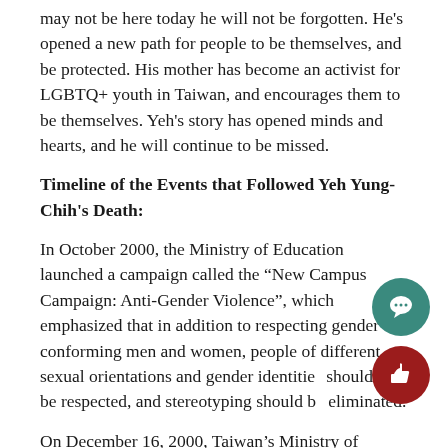may not be here today he will not be forgotten. He's opened a new path for people to be themselves, and be protected. His mother has become an activist for LGBTQ+ youth in Taiwan, and encourages them to be themselves. Yeh's story has opened minds and hearts, and he will continue to be missed.
Timeline of the Events that Followed Yeh Yung-Chih's Death:
In October 2000, the Ministry of Education launched a campaign called the “New Campus Campaign: Anti-Gender Violence”, which emphasized that in addition to respecting gender conforming men and women, people of different sexual orientations and gender identities should also be respected, and stereotyping should be eliminated.
On December 16, 2000, Taiwan’s Ministry of Education